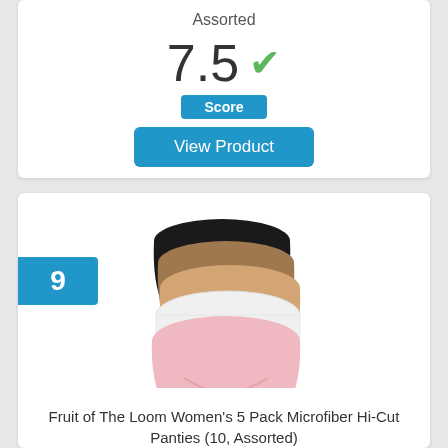Assorted
7.5
Score
View Product
9
[Figure (photo): Five stacked women's hi-cut panties in assorted colors: black, tan/brown, beige/nude, white, and pink]
Fruit of The Loom Women's 5 Pack Microfiber Hi-Cut Panties (10, Assorted)
7.5